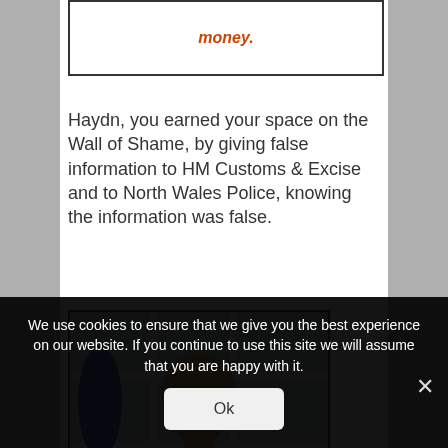[Figure (screenshot): Partial top image box showing red/orange italic text partially visible, presumably part of a 'Wall of Shame' web page element]
Haydn, you earned your space on the Wall of Shame, by giving false information to HM Customs & Excise and to North Wales Police, knowing the information was false.
[Figure (photo): Photo of a bald middle-aged man wearing sunglasses and a purple t-shirt, standing in front of a white-framed window/conservatory]
We use cookies to ensure that we give you the best experience on our website. If you continue to use this site we will assume that you are happy with it.